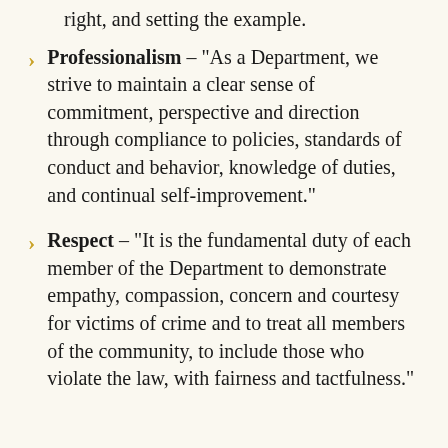right, and setting the example.
Professionalism – "As a Department, we strive to maintain a clear sense of commitment, perspective and direction through compliance to policies, standards of conduct and behavior, knowledge of duties, and continual self-improvement."
Respect – "It is the fundamental duty of each member of the Department to demonstrate empathy, compassion, concern and courtesy for victims of crime and to treat all members of the community, to include those who violate the law, with fairness and tactfulness."